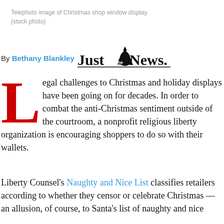Telephoto image of Christmas shop window display.
(stock photo)
By Bethany Blankley  Just the News.
Legal challenges to Christmas and holiday displays have been going on for decades. In order to combat the anti-Christmas sentiment outside of the courtroom, a nonprofit religious liberty organization is encouraging shoppers to do so with their wallets.
Liberty Counsel's Naughty and Nice List classifies retailers according to whether they censor or celebrate Christmas — an allusion, of course, to Santa's list of naughty and nice